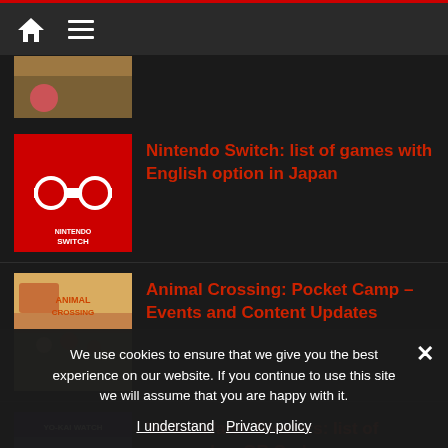Navigation bar with home and menu icons
[Figure (screenshot): Partial article thumbnail at top, cropped]
Nintendo Switch: list of games with English option in Japan
[Figure (logo): Nintendo Switch red logo thumbnail]
Animal Crossing: Pocket Camp – Events and Content Updates
[Figure (screenshot): Animal Crossing Pocket Camp game artwork thumbnail]
Yo-kai Watch Blasters: list of passcodes, QR Codes
[Figure (screenshot): Yo-kai Watch Blasters game artwork thumbnail]
Nintendo Switch: list of free games, game trials, demos, apps, etc.
[Figure (screenshot): Nintendo Switch partial thumbnail at bottom]
We use cookies to ensure that we give you the best experience on our website. If you continue to use this site we will assume that you are happy with it.
I understand   Privacy policy